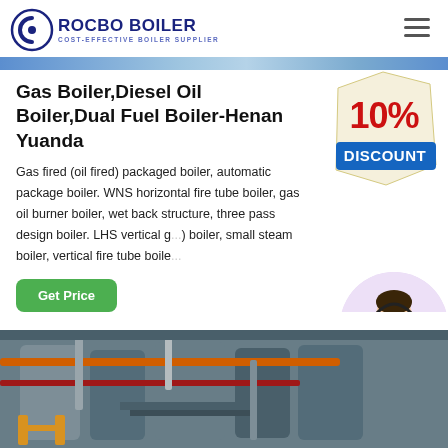ROCBO BOILER COST-EFFECTIVE BOILER SUPPLIER
[Figure (photo): Blue industrial banner strip at top of page]
Gas Boiler,Diesel Oil Boiler,Dual Fuel Boiler-Henan Yuanda
Gas fired (oil fired) packaged boiler, automatic package boiler. WNS horizontal fire tube boiler, gas oil burner boiler, wet back structure, three pass design boiler. LHS vertical g... boiler, small steam boiler, vertical fire tube boile...
[Figure (other): 10% DISCOUNT promotional badge/stamp in red and blue on crumpled paper background]
[Figure (photo): Customer support representative woman wearing headset smiling, in a circular frame]
[Figure (photo): Industrial boiler room with pipes and equipment, yellow safety barriers visible]